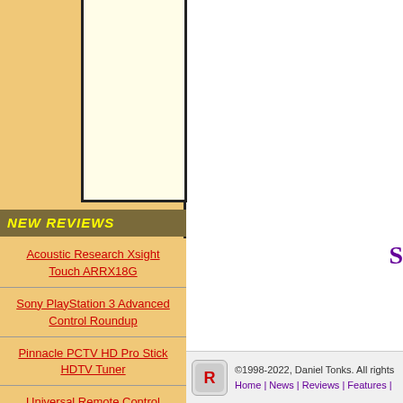[Figure (other): Left sidebar with tan/golden background and white inner panel box]
NEW REVIEWS
Acoustic Research Xsight Touch ARRX18G
Sony PlayStation 3 Advanced Control Roundup
Pinnacle PCTV HD Pro Stick HDTV Tuner
Universal Remote Control Inc. Digital R50
©1998-2022, Daniel Tonks. All rights Home | News | Reviews | Features |